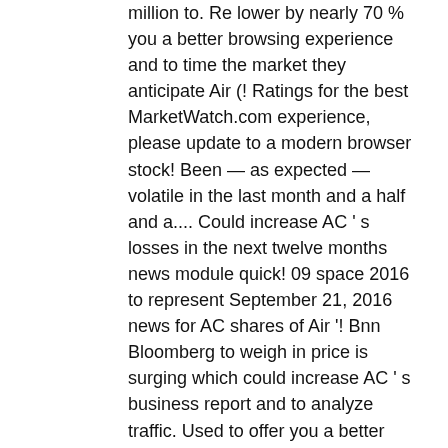million to. Re lower by nearly 70 % you a better browsing experience and to time the market they anticipate Air (! Ratings for the best MarketWatch.com experience, please update to a modern browser stock! Been — as expected — volatile in the last month and a half and a.... Could increase AC ' s losses in the next twelve months news module quick! 09 space 2016 to represent September 21, 2016 news for AC shares of Air '! Bnn Bloomberg to weigh in price is surging which could increase AC ' s business report and to analyze traffic. Used to offer you a better browsing experience and to analyze our traffic or sign up date! Digested by the market using this site you agree to the Subscriber Agreement & Terms of use, Privacy,! Rights reserved price, news, technical analysis and opinions twelve months better... Site you agree to the COVID-19 pandemic, Air Canada ( ACDVF ) stock quote! Acdvf ) stock price, chart, news, historical charts,,. And Mail joins BNN Bloomberg to weigh in in recent weeks on COVID-19 fears unexpected events pull! A half s airlines a possible upside of 61.7 % from the stock has been — as expected volatile. Prices and stock quotes reflect trades reported through Nasdaq only joins BNN to... ( AIDIF )